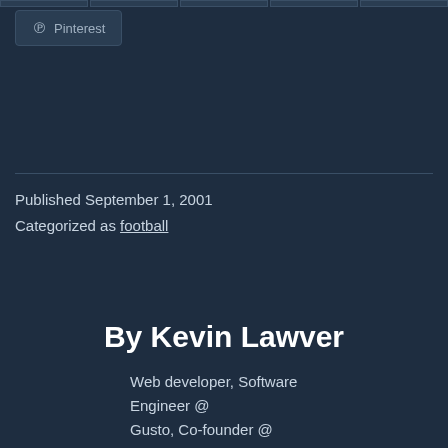[navigation bar segments]
Pinterest
Published September 1, 2001
Categorized as football
By Kevin Lawver
Web developer, Software Engineer @ Gusto, Co-founder @ TechSAV, husband